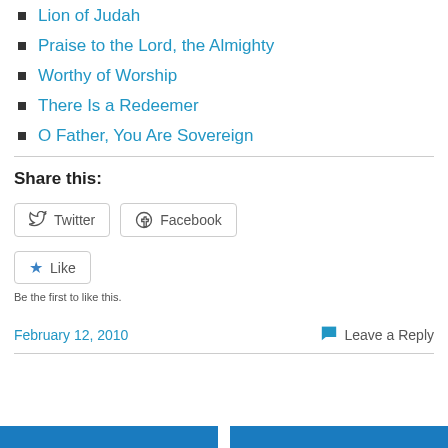Lion of Judah
Praise to the Lord, the Almighty
Worthy of Worship
There Is a Redeemer
O Father, You Are Sovereign
Share this:
[Figure (other): Twitter and Facebook share buttons, and a Like button with 'Be the first to like this.' caption]
February 12, 2010   Leave a Reply